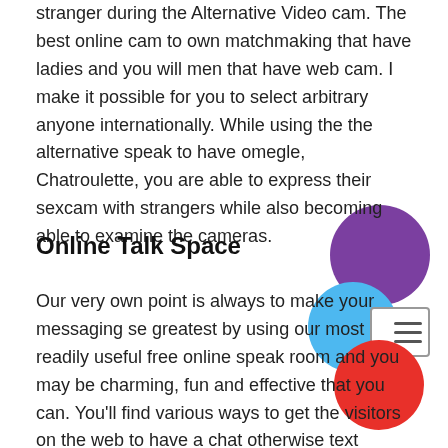stranger during the Alternative Video cam. The best online cam to own matchmaking that have ladies and you will men that have web cam. I make it possible for you to select arbitrary anyone internationally. While using the the alternative speak to have omegle, Chatroulette, you are able to express their sexcam with strangers while also becoming able to examine the cameras.
Online Talk Space
Our very own point is always to make your messaging se greatest by using our most readily useful free online speak room and you may be charming, fun and effective that you can. You'll find various ways to get the visitors on the web to have a chat otherwise text message, see complete strangers. Our internet speak is a fantastic answer to apply at some body doing the country plus the smartest thing try its completely private. Talk to arbitrary someone on the internet, chat on the internet free otherwise keep in touch with females complete strangers on line has not been simpler. All of our On the web